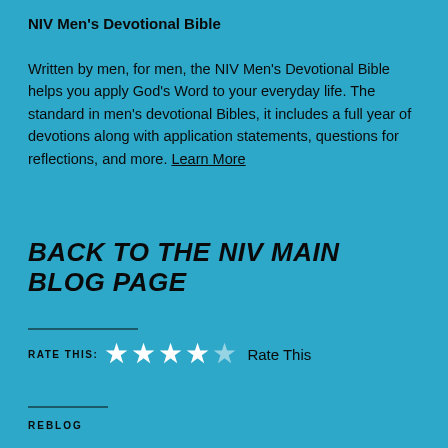NIV Men's Devotional Bible
Written by men, for men, the NIV Men's Devotional Bible helps you apply God's Word to your everyday life. The standard in men's devotional Bibles, it includes a full year of devotions along with application statements, questions for reflections, and more. Learn More
BACK TO THE NIV MAIN BLOG PAGE
RATE THIS: ★★★★☆ Rate This
REBLOG